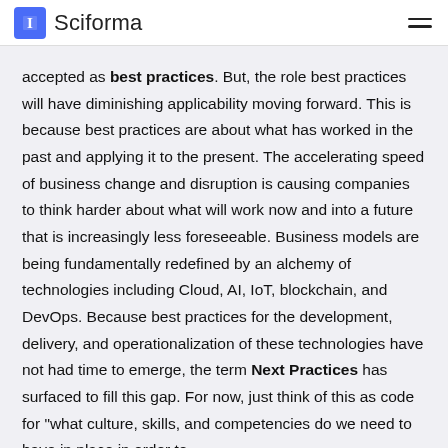Sciforma
accepted as best practices. But, the role best practices will have diminishing applicability moving forward. This is because best practices are about what has worked in the past and applying it to the present. The accelerating speed of business change and disruption is causing companies to think harder about what will work now and into a future that is increasingly less foreseeable. Business models are being fundamentally redefined by an alchemy of technologies including Cloud, AI, IoT, blockchain, and DevOps. Because best practices for the development, delivery, and operationalization of these technologies have not had time to emerge, the term Next Practices has surfaced to fill this gap. For now, just think of this as code for "what culture, skills, and competencies do we need to have in place in order to